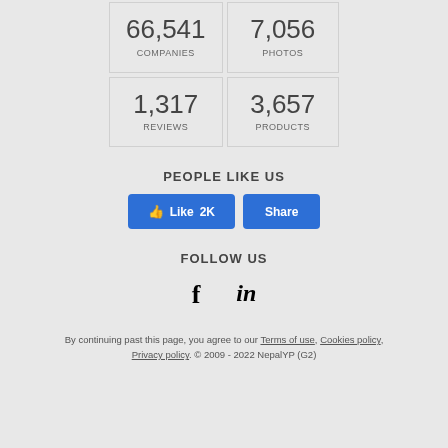66,541 COMPANIES
7,056 PHOTOS
1,317 REVIEWS
3,657 PRODUCTS
PEOPLE LIKE US
[Figure (other): Facebook Like button showing '2K' likes and a Share button, both in blue]
FOLLOW US
[Figure (other): Social media icons: Facebook (f) and LinkedIn (in)]
By continuing past this page, you agree to our Terms of use, Cookies policy, Privacy policy. © 2009 - 2022 NepalYP (G2)